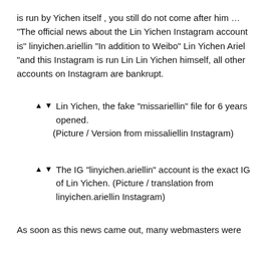is run by Yichen itself , you still do not come after him … "The official news about the Lin Yichen Instagram account is" linyichen.ariellin "In addition to Weibo" Lin Yichen Ariel "and this Instagram is run Lin Lin Yichen himself, all other accounts on Instagram are bankrupt.
▲ ▼ Lin Yichen, the fake "missariellin" file for 6 years opened. (Picture / Version from missaliellin Instagram)
▲ ▼ The IG "linyichen.ariellin" account is the exact IG of Lin Yichen. (Picture / translation from linyichen.ariellin Instagram)
As soon as this news came out, many webmasters were